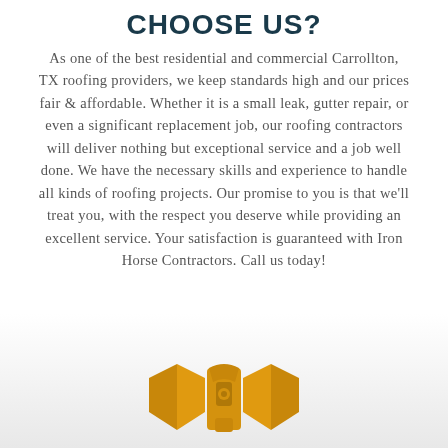CHOOSE US?
As one of the best residential and commercial Carrollton, TX roofing providers, we keep standards high and our prices fair & affordable. Whether it is a small leak, gutter repair, or even a significant replacement job, our roofing contractors will deliver nothing but exceptional service and a job well done. We have the necessary skills and experience to handle all kinds of roofing projects. Our promise to you is that we'll treat you, with the respect you deserve while providing an excellent service. Your satisfaction is guaranteed with Iron Horse Contractors. Call us today!
[Figure (logo): Iron Horse Contractors logo — a shield shape with a wrench icon in gold/orange color]